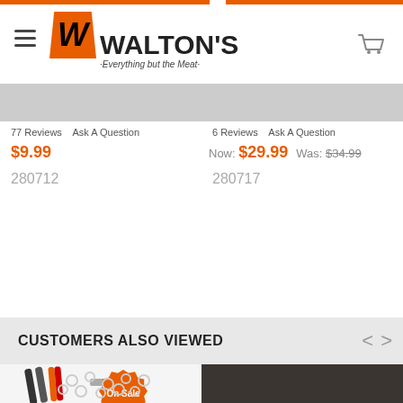Walton's - Everything but the Meat
77 Reviews   Ask A Question
$9.99
280712
6 Reviews   Ask A Question
Now: $29.99  Was: $34.99
280717
CUSTOMERS ALSO VIEWED
[Figure (photo): Hog ring pliers and staples with an On Sale badge]
[Figure (photo): Pile of metal hog rings on dark background]